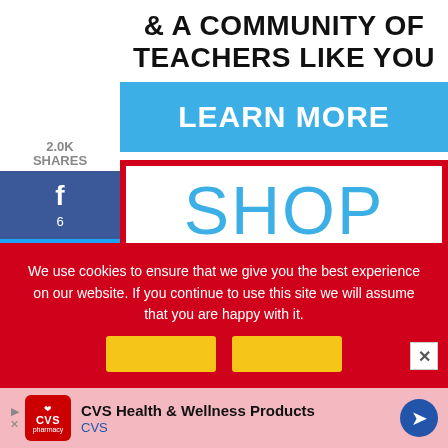& A COMMUNITY OF TEACHERS LIKE YOU
[Figure (infographic): Blue 'LEARN MORE' button banner]
2.0K SHARES
[Figure (infographic): Social share sidebar with Facebook (6), Twitter, Pinterest (2.0K) buttons]
[Figure (infographic): Shop banner with red border, blue 'SHOP' text and partial 'A BAR' text below]
We use cookies to ensure that we give you the best experience on our website. If you continue to use this site we will assume that you are happy with it.
[Figure (infographic): CVS Health & Wellness Products advertisement banner at bottom]